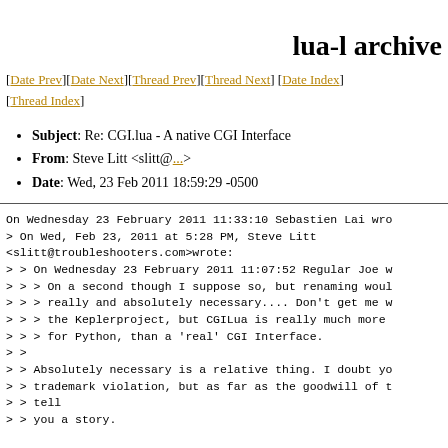lua-l archive
[Date Prev][Date Next][Thread Prev][Thread Next] [Date Index][Thread Index]
Subject: Re: CGI.lua - A native CGI Interface
From: Steve Litt <slitt@...>
Date: Wed, 23 Feb 2011 18:59:29 -0500
On Wednesday 23 February 2011 11:33:10 Sebastien Lai wro
> On Wed, Feb 23, 2011 at 5:28 PM, Steve Litt
<slitt@troubleshooters.com>wrote:
> > On Wednesday 23 February 2011 11:07:52 Regular Joe w
> > > On a second though I suppose so, but renaming woul
> > > really and absolutely necessary.... Don't get me w
> > > the Keplerproject, but CGILua is really much more
> > > for Python, than a 'real' CGI Interface.
> >
> > Absolutely necessary is a relative thing. I doubt yo
> > trademark violation, but as far as the goodwill of t
> > tell
> > you a story.